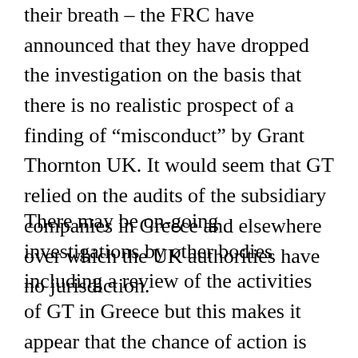their breath – the FRC have announced that they have dropped the investigation on the basis that there is no realistic prospect of a finding of "misconduct" by Grant Thornton UK. It would seem that GT relied on the audits of the subsidiary companies in Greece and elsewhere over which the UK authorities have no jurisdiction.
There may be on-going investigations by other bodies including a review of the activities of GT in Greece but this makes it appear that the chance of action is fading away. Not that shareholders were ever likely to recover their losses. It is disappointing that the FRC have not taken a tougher line on this matter as questions about the accounts of Globo were